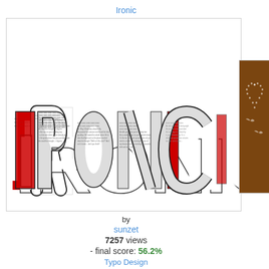Ironic
[Figure (illustration): Word art image spelling 'IRONIC' using tiny newspaper-style text arranged to form large letters, with red accent on the letter I. Shown twice side by side.]
[Figure (illustration): Partial view of a brown/golden background artwork with white text arranged in a heart shape, with butterflies visible.]
by
sunzet
7257 views
- final score: 56.2%
Typo Design